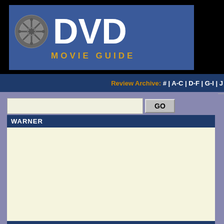[Figure (logo): DVD Movie Guide logo with film reel icon on dark blue background]
Review Archive: # | A-C | D-F | G-I | J
GO (search button)
WARNER
MOVIE INFO
Director: Victor Fleming
The Wizard Of
Reviewed by Colin Jacobson (October 2
The Wizard of Oz may well be the most "c... I had something negative to say. However, has barely aged a day since 1939.
Like many of you, I used to watch Oz ever... CBS. However, I can't remember the last t... more. Happily, it's just as much fun - and m... completely wonderful little film.
Although Oz is regarded as a children's fil... childhood days are a distant memory but l... through junk due to nostalgia, as I've disc... my youth. Oz certainly delights kids, but it... extreme charm of its performers.
Judy Garland may have been a little old fo... she really seems to be the perfect age for... young woman to experience feelings of di...